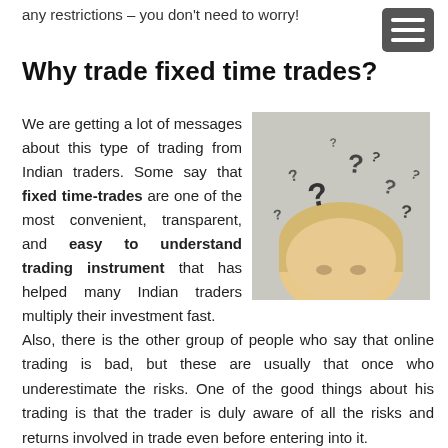any restrictions – you don't need to worry!
Why trade fixed time trades?
We are getting a lot of messages about this type of trading from Indian traders. Some say that fixed time-trades are one of the most convenient, transparent, and easy to understand trading instrument that has helped many Indian traders multiply their investment fast.
[Figure (photo): Woman with question marks floating above her head, symbolizing confusion or questions about trading]
Also, there is the other group of people who say that online trading is bad, but these are usually that once who underestimate the risks. One of the good things about his trading is that the trader is duly aware of all the risks and returns involved in trade even before entering into it.